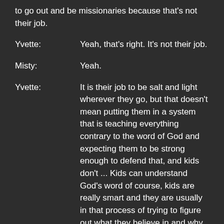to go out and be missionaries because that's not their job.
Yvette: Yeah, that's right. It's not their job.
Misty: Yeah.
Yvette: It is their job to be salt and light wherever they go, but that doesn't mean putting them in a system that is teaching everything contrary to the word of God and expecting them to be strong enough to defend that, and kids don't ... Kids can understand God's word of course, kids are really smart and they are usually in that process of trying to figure out what they believe in and why they believe it, but a child does not, I would say even many middle school and high schoolers, they don't completely understand yet what they believe and why they believe it. They're still in the stage of asking questions and trying to figure out okay, this is what my